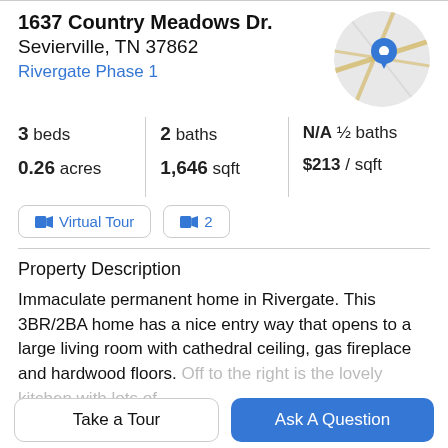1637 Country Meadows Dr.
Sevierville, TN 37862
Rivergate Phase 1
[Figure (map): Circular map thumbnail showing street map with blue location pin]
| Metric | Value |
| --- | --- |
| 3 beds | 2 baths | N/A ½ baths |
| 0.26 acres | 1,646 sqft | $213 / sqft |
📹 Virtual Tour  📹 2
Property Description
Immaculate permanent home in Rivergate. This 3BR/2BA home has a nice entry way that opens to a large living room with cathedral ceiling, gas fireplace and hardwood floors. Off to the right is the lovely kitchen with lots of
Take a Tour
Ask A Question